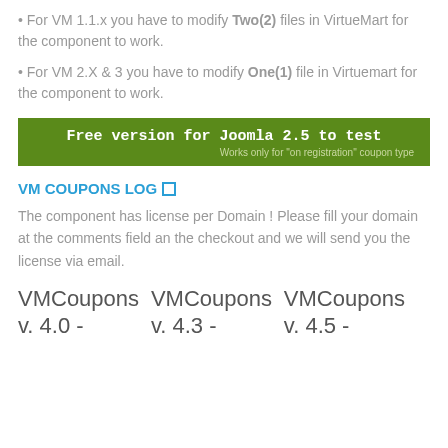• For VM 1.1.x you have to modify Two(2) files in VirtueMart for the component to work.
• For VM 2.X & 3 you have to modify One(1) file in Virtuemart for the component to work.
[Figure (other): Green banner: 'Free version for Joomla 2.5 to test' with subtitle 'Works only for "on registration" coupon type']
VM COUPONS LOG
The component has license per Domain ! Please fill your domain at the comments field an the checkout and we will send you the license via email.
VMCoupons v. 4.0 -    VMCoupons v. 4.3 -    VMCoupons v. 4.5 -